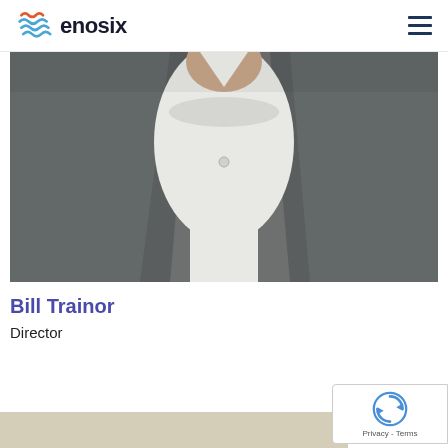enosix
[Figure (photo): Close-up photo of a person wearing a grey blazer over a white dress shirt, cropped at the chest/neck area with no face visible]
Bill Trainor
Director